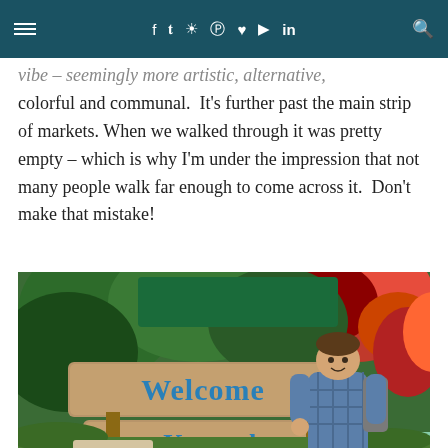≡  f  t  ☷  ⊕  ♥  ▶  in  🔍
vibe – seemingly more artistic, alternative, colorful and communal.  It's further past the main strip of markets. When we walked through it was pretty empty – which is why I'm under the impression that not many people walk far enough to come across it.  Don't make that mistake!
[Figure (photo): A man standing in front of a 'Welcome to Kuranda' sign surrounded by tropical plants and colorful foliage.]
He purposefully wore that shirt to match the typeface.